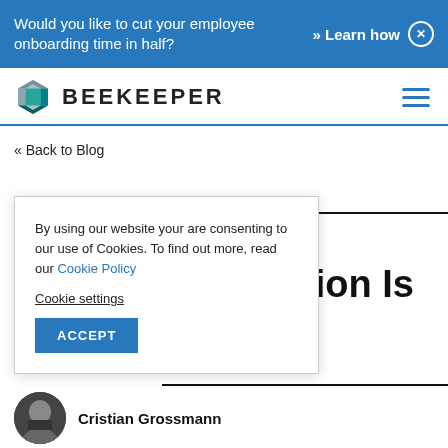Would you like to cut your employee onboarding time in half? » Learn how
[Figure (logo): Beekeeper hexagonal logo in teal/grey with BEEKEEPER text]
« Back to Blog
By using our website your are consenting to our use of Cookies. To find out more, read our Cookie Policy
Cookie settings
ACCEPT
nternal munication Is
Cristian Grossmann